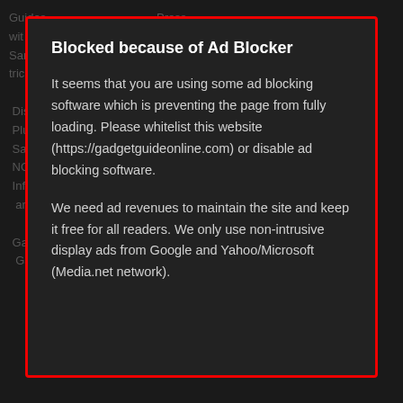Blocked because of Ad Blocker
It seems that you are using some ad blocking software which is preventing the page from fully loading. Please whitelist this website (https://gadgetguideonline.com) or disable ad blocking software.
We need ad revenues to maintain the site and keep it free for all readers. We only use non-intrusive display ads from Google and Yahoo/Microsoft (Media.net network).